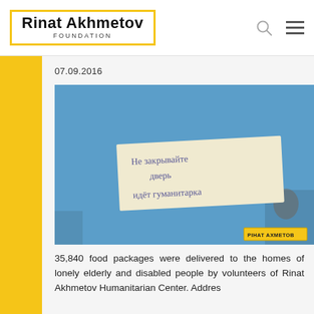[Figure (logo): Rinat Akhmetov Foundation logo with yellow border]
07.09.2016
[Figure (photo): Blue door with a handwritten note in Russian attached to it. In the bottom right corner a yellow label reads 'Рiнат Ахметов']
35,840 food packages were delivered to the homes of lonely elderly and disabled people by volunteers of Rinat Akhmetov Humanitarian Center. Addres...